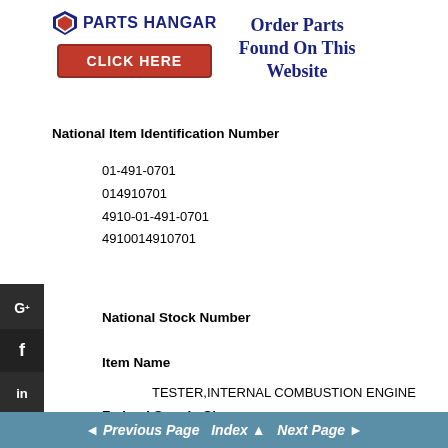[Figure (logo): Parts Hangar logo with shield icon and company name, plus red CLICK HERE button]
Order Parts Found On This Website
National Item Identification Number
01-491-0701
014910701
4910-01-491-0701
4910014910701
National Stock Number
Item Name
TESTER,INTERNAL COMBUSTION ENGINE
Federal Supply Class
◄ Previous Page  Index ▲  Next Page ►